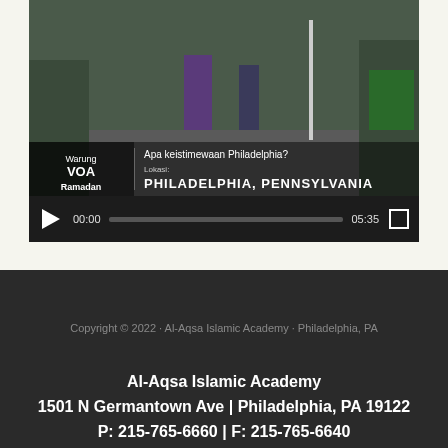[Figure (screenshot): Video player screenshot showing a street scene in Philadelphia, PA with Indonesian text overlay 'Apa keistimewaan Philadelphia?' and 'Warung VOA Ramadan' branding, with video controls showing 00:00 / 05:35]
Copyright © 2022 · Al-Aqsa Islamic Academy · Philadelphia, PA
Al-Aqsa Islamic Academy
1501 N Germantown Ave | Philadelphia, PA 19122
P: 215-765-6660 | F: 215-765-6640